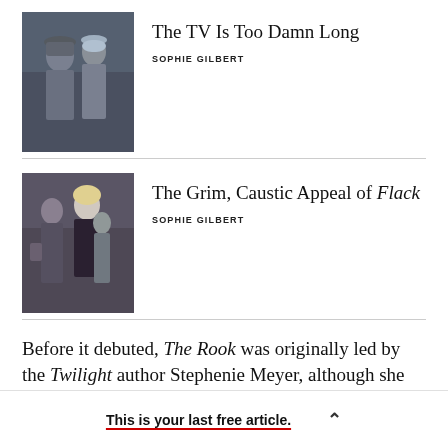[Figure (photo): Two people in a medical/wartime setting, one wearing a hat and coat, another in surgical scrubs and cap.]
The TV Is Too Damn Long
SOPHIE GILBERT
[Figure (photo): Two or three women walking on a street, one with blonde hair, in a dark urban setting.]
The Grim, Caustic Appeal of Flack
SOPHIE GILBERT
Before it debuted, The Rook was originally led by the Twilight author Stephenie Meyer, although she [continues below]
This is your last free article.